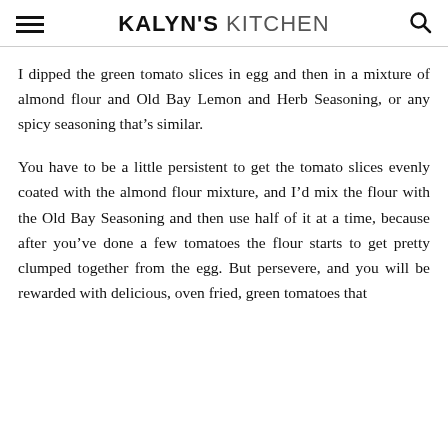KALYN'S KITCHEN
I dipped the green tomato slices in egg and then in a mixture of almond flour and Old Bay Lemon and Herb Seasoning, or any spicy seasoning that's similar.
You have to be a little persistent to get the tomato slices evenly coated with the almond flour mixture, and I'd mix the flour with the Old Bay Seasoning and then use half of it at a time, because after you've done a few tomatoes the flour starts to get pretty clumped together from the egg. But persevere, and you will be rewarded with delicious, oven fried, green tomatoes that